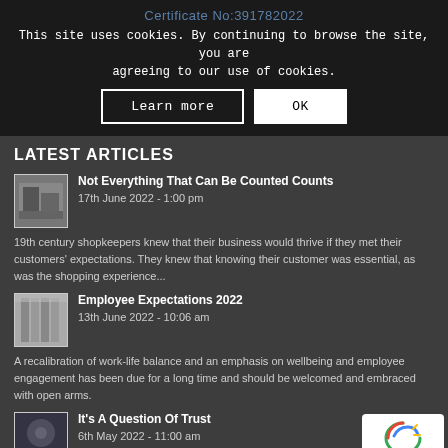Certificate No:391782022
This site uses cookies. By continuing to browse the site, you are agreeing to our use of cookies.
LATEST ARTICLES
Not Everything That Can Be Counted Counts
17th June 2022 - 1:00 pm
19th century shopkeepers knew that their business would thrive if they met their customers' expectations. They knew that knowing their customer was essential, as was the shopping experience...
Employee Expectations 2022
13th June 2022 - 10:06 am
A recalibration of work-life balance and an emphasis on wellbeing and employee engagement has been due for a long time and should be welcomed and embraced with open arms.
It's A Question Of Trust
6th May 2022 - 11:00 am